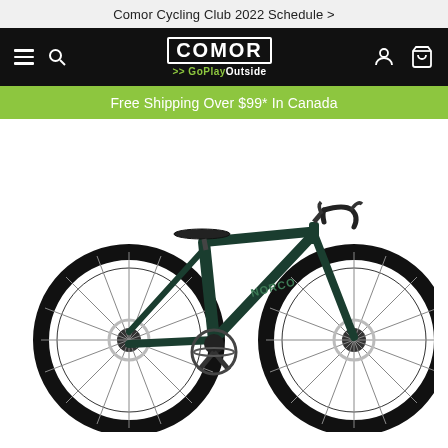Comor Cycling Club 2022 Schedule >
[Figure (screenshot): Navigation bar with hamburger menu, search icon, COMOR >> GoPlayOutside logo in center, user account icon and shopping cart icon on right, all on black background]
Free Shipping Over $99* In Canada
[Figure (photo): Dark green Norco road/gravel bike with drop handlebars, disc brakes, and black tires, displayed on white background]